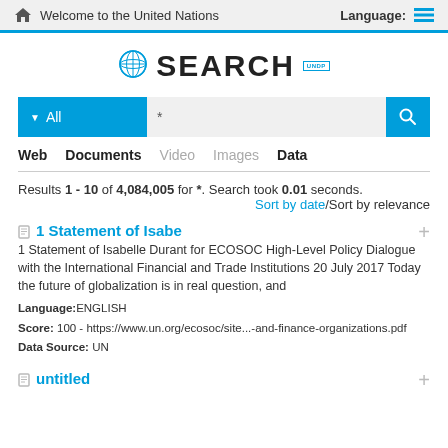Welcome to the United Nations   Language:
[Figure (logo): UN globe logo with SEARCH text and UNDP badge]
* (search input)
Web   Documents   Video   Images   Data
Results 1 - 10 of 4,084,005 for *. Search took 0.01 seconds.
Sort by date/Sort by relevance
1 Statement of Isabe
1 Statement of Isabelle Durant for ECOSOC High-Level Policy Dialogue with the International Financial and Trade Institutions 20 July 2017 Today the future of globalization is in real question, and
Language:ENGLISH
Score: 100 - https://www.un.org/ecosoc/site...-and-finance-organizations.pdf
Data Source: UN
untitled